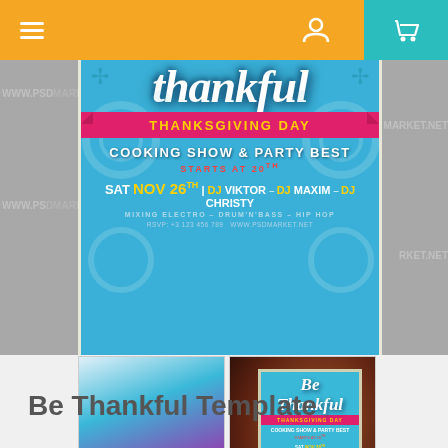Navigation bar with menu, user, and cart icons
[Figure (illustration): Thanksgiving Day flyer showing 'Be Thankful' in large script text, a pink ribbon banner with 'THANKSGIVING DAY' in yellow, 'COOKING SHOW & PARTY BEST' text, 'STARTS AT 20TH', 'SAT NOV 26TH | DJ VIKTOR - DJ MAXIM - DJ CHRISTY', 'MIXING ELECTRO - DRUM N BASS - HIP HOP', and RSVP information. Blue background with decorative elements.]
[Figure (photo): Two thumbnail images showing the Be Thankful flyer template — one as a printed card on white surface, one displayed on a billboard/poster stand in an indoor setting.]
Be Thankful Template